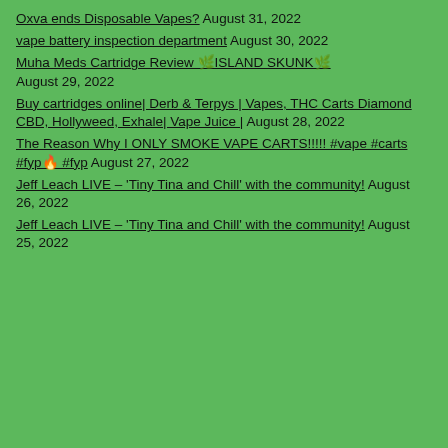Oxva ends Disposable Vapes? August 31, 2022
vape battery inspection department August 30, 2022
Muha Meds Cartridge Review 🌿ISLAND SKUNK🌿 August 29, 2022
Buy cartridges online| Derb & Terpys | Vapes, THC Carts Diamond CBD, Hollyweed, Exhale| Vape Juice | August 28, 2022
The Reason Why I ONLY SMOKE VAPE CARTS!!!!! #vape #carts #fyp🔥 #fyp August 27, 2022
Jeff Leach LIVE – 'Tiny Tina and Chill' with the community! August 26, 2022
Jeff Leach LIVE – 'Tiny Tina and Chill' with the community! August 25, 2022